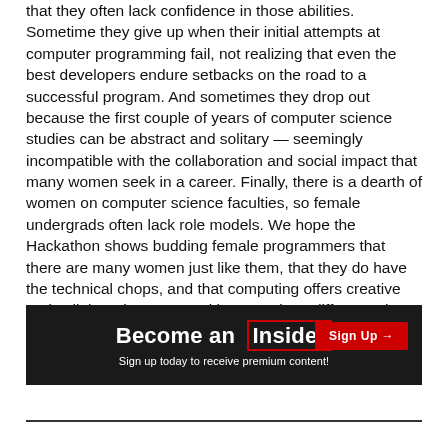that they often lack confidence in those abilities. Sometime they give up when their initial attempts at computer programming fail, not realizing that even the best developers endure setbacks on the road to a successful program. And sometimes they drop out because the first couple of years of computer science studies can be abstract and solitary — seemingly incompatible with the collaboration and social impact that many women seek in a career. Finally, there is a dearth of women on computer science faculties, so female undergrads often lack role models. We hope the Hackathon shows budding female programmers that there are many women just like them, that they do have the technical chops, and that computing offers creative and collaborative opportunities to make a difference in society. —Rane Johnson-Stempson
<P>COURTESY OF JERRY MISCHEL</P>
[Figure (infographic): Dark banner advertisement: 'Become an Insider' with a red-bordered box around 'Insider', a 'Sign Up' red button on the right, and subtitle 'Sign up today to receive premium content!']